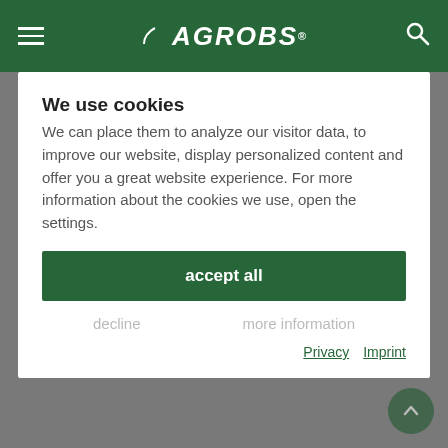AGROBS
meadow buttercup and creeping buttercup
rattle
We use cookies
We can place them to analyze our visitor data, to improve our website, display personalized content and offer you a great website experience. For more information about the cookies we use, open the settings.
accept all
decline
more information
Privacy
Imprint
maintain photosynthesis) and for the plants to be able to store reserve nutrients. Weeds will have difficulty establishing themselves when the grass cover is able to regenerate.
The use of herbicides should be a last resort for combating